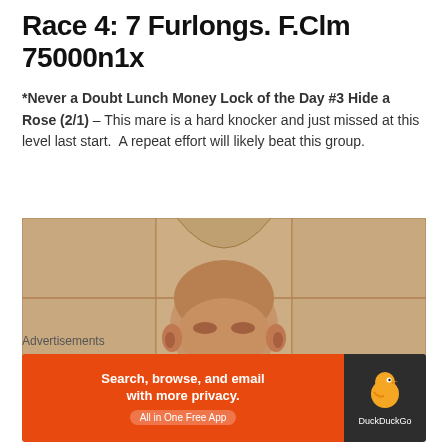Race 4: 7 Furlongs. F.Clm 75000n1x
*Never a Doubt Lunch Money Lock of the Day #3 Hide a Rose (2/1) – This mare is a hard knocker and just missed at this level last start.  A repeat effort will likely beat this group.
[Figure (photo): A man with a shaved head viewed from slightly above, in front of a wood-paneled background.]
Advertisements
[Figure (screenshot): DuckDuckGo advertisement banner: orange left panel reading 'Search, browse, and email with more privacy. All in One Free App' and dark right panel with DuckDuckGo duck logo and text 'DuckDuckGo'.]